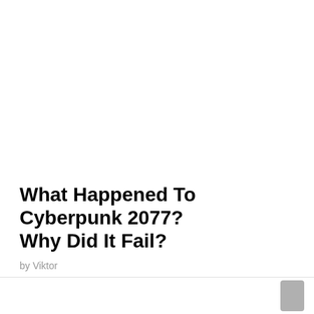What Happened To Cyberpunk 2077? Why Did It Fail?
by Viktor